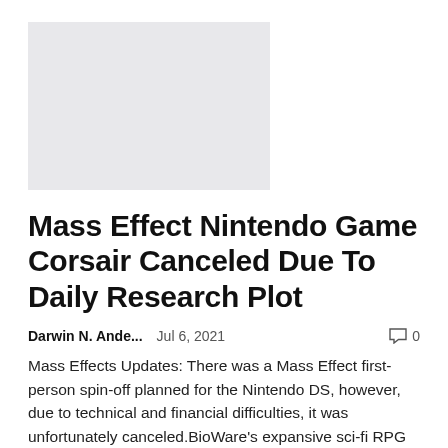[Figure (photo): Light gray rectangular placeholder image]
Mass Effect Nintendo Game Corsair Canceled Due To Daily Research Plot
Darwin N. Ande...    Jul 6, 2021    💬 0
Mass Effects Updates: There was a Mass Effect first-person spin-off planned for the Nintendo DS, however, due to technical and financial difficulties, it was unfortunately canceled.BioWare's expansive sci-fi RPG series is most popular for...